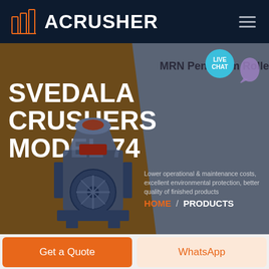ACRUSHER
[Figure (screenshot): Hero section showing SVEDALA CRUSHERS MODEL 74 with a crusher machine image on a brown/gray split background. Includes MRN Pendulum Roller text, description, HOME / PRODUCTS breadcrumb, and LIVE CHAT bubble.]
SVEDALA CRUSHERS MODEL 74
MRN Pendulum Rolle
Lower operational & maintenance costs, excellent environmental protection, better quality of finished products
HOME / PRODUCTS
Get a Quote
WhatsApp